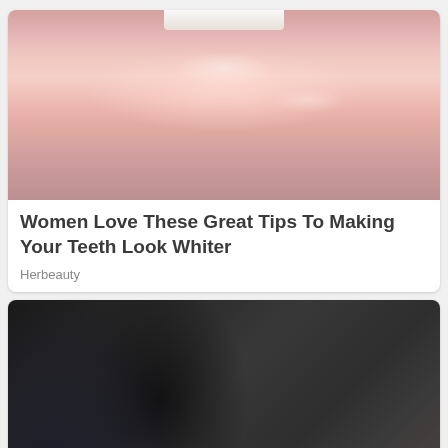[Figure (photo): Close-up photo of lips with teeth slightly visible]
Women Love These Great Tips To Making Your Teeth Look Whiter
Herbeauty
[Figure (photo): Action scene with multiple people, one smiling man with short brown hair being held by others in dark clothing]
The 5 Best Fight Scenes In The MCU...